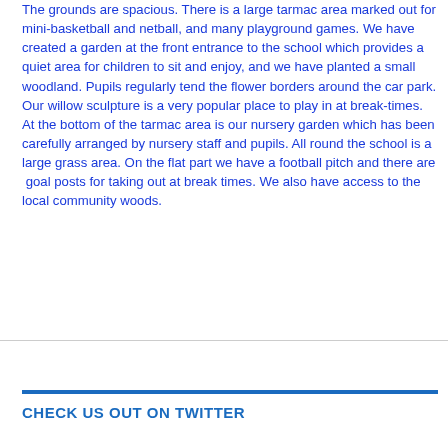The grounds are spacious. There is a large tarmac area marked out for mini-basketball and netball, and many playground games. We have created a garden at the front entrance to the school which provides a quiet area for children to sit and enjoy, and we have planted a small woodland. Pupils regularly tend the flower borders around the car park. Our willow sculpture is a very popular place to play in at break-times. At the bottom of the tarmac area is our nursery garden which has been carefully arranged by nursery staff and pupils. All round the school is a large grass area. On the flat part we have a football pitch and there are  goal posts for taking out at break times. We also have access to the local community woods.
CHECK US OUT ON TWITTER